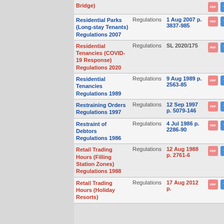| Name | Type | Gazette | Icons |
| --- | --- | --- | --- |
| Bridge) | Regulations |  | PDF W |
| Residential Parks (Long-stay Tenants) Regulations 2007 | Regulations | 1 Aug 2007 p. 3837-985 | PDF W |
| Residential Tenancies (COVID-19 Response) Regulations 2020 | Regulations | SL 2020/175 | PDF W |
| Residential Tenancies Regulations 1989 | Regulations | 9 Aug 1989 p. 2563-85 | PDF W |
| Restraining Orders Regulations 1997 | Regulations | 12 Sep 1997 p. 5079-146 | PDF W |
| Restraint of Debtors Regulations 1986 | Regulations | 4 Jul 1986 p. 2286-90 | PDF W |
| Retail Trading Hours (Filling Station Zones) Regulations 1988 | Regulations | 12 Aug 1988 p. 2761-6 | PDF W |
| Retail Trading Hours (Holiday Resorts) | Regulations | 17 Aug 2012 p. | PDF W |